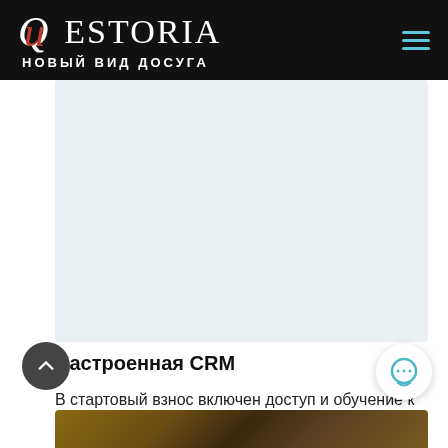QUESTORIA — НОВЫЙ ВИД ДОСУГА
Настроенная CRM
В стартовый взнос включен доступ и обучение к CRM, которую мы тщательно адаптировали под Квесторию.
[Figure (photo): Partial photo visible at bottom of page, appears to show a wooden interior scene]